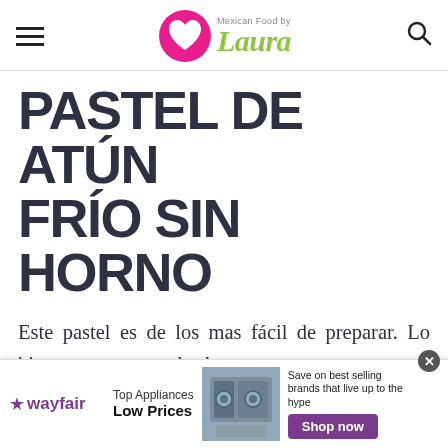Mexican Food by Laura
PASTEL DE ATÚN FRÍO SIN HORNO
Este pastel es de los mas fácil de preparar. Lo hice con una mezcla de mayonesa y yogurt para que fuera mas saludable. Queda delicioso y se hace en frío con pan de caja
[Figure (screenshot): Wayfair advertisement banner: Top Appliances Low Prices, Save on best selling brands that live up to the hype, Shop now button]